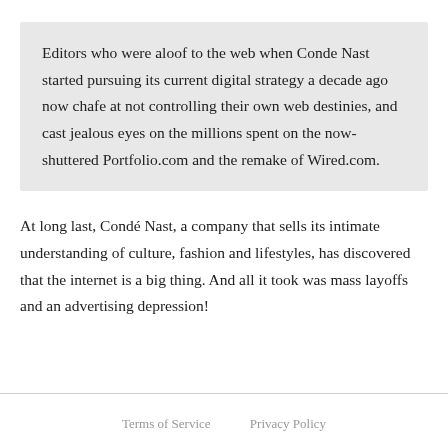Editors who were aloof to the web when Conde Nast started pursuing its current digital strategy a decade ago now chafe at not controlling their own web destinies, and cast jealous eyes on the millions spent on the now-shuttered Portfolio.com and the remake of Wired.com.
At long last, Condé Nast, a company that sells its intimate understanding of culture, fashion and lifestyles, has discovered that the internet is a big thing. And all it took was mass layoffs and an advertising depression!
Terms of Service    Privacy Policy